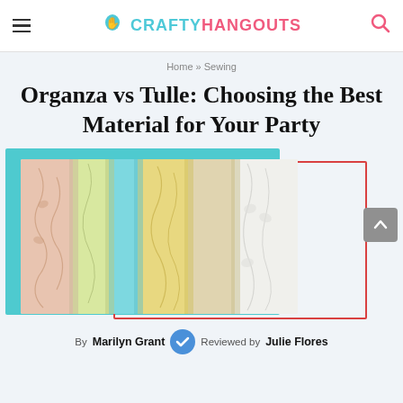CRAFTYHANGOUTS
Home » Sewing
Organza vs Tulle: Choosing the Best Material for Your Party
[Figure (photo): Multiple rolls of sheer organza fabric in various colors including pink, yellow, blue, and white with floral patterns, displayed side by side]
By Marilyn Grant  Reviewed by Julie Flores